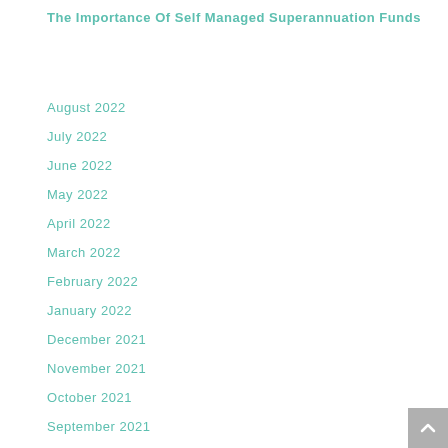The Importance Of Self Managed Superannuation Funds
August 2022
July 2022
June 2022
May 2022
April 2022
March 2022
February 2022
January 2022
December 2021
November 2021
October 2021
September 2021
August 2021
July 2021
June 2021